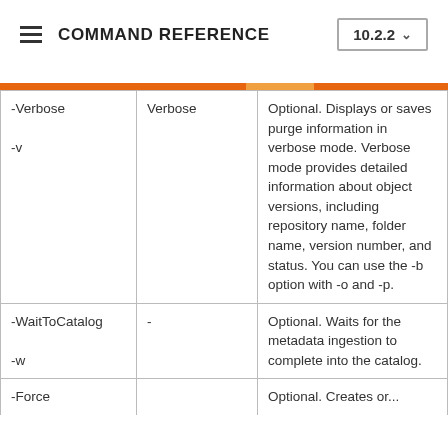COMMAND REFERENCE  10.2.2
| Option/Switch | Short Form | Description |
| --- | --- | --- |
| -Verbose
-v | Verbose | Optional. Displays or saves purge information in verbose mode. Verbose mode provides detailed information about object versions, including repository name, folder name, version number, and status. You can use the -b option with -o and -p. |
| -WaitToCatalog
-w | - | Optional. Waits for the metadata ingestion to complete into the catalog. |
| -Force |  | Optional. Creates or... |